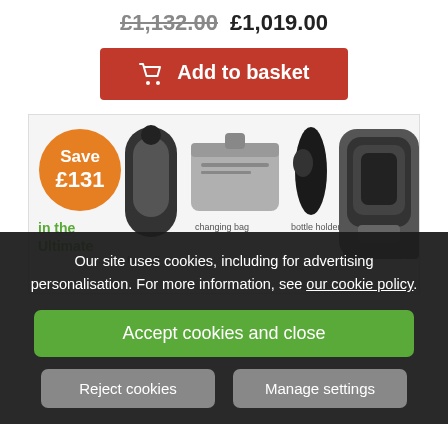£1,132.00 £1,019.00
[Figure (screenshot): Red 'Add to basket' button with shopping basket icon]
[Figure (infographic): Product bundle banner showing 'Save £131 in the Ultimate' with footmuff, changing bag, bottle holder, and car seat items]
Our site uses cookies, including for advertising personalisation. For more information, see our cookie policy.
[Figure (screenshot): Cookie consent overlay with Accept cookies and close (green), Reject cookies and Manage settings (grey) buttons]